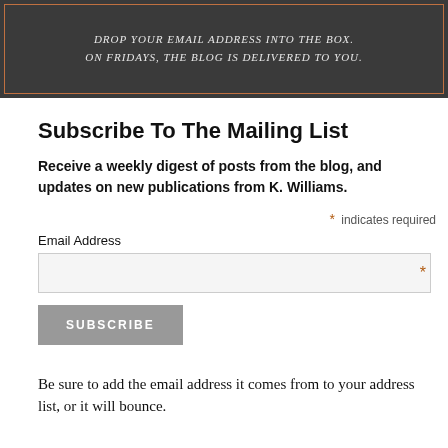[Figure (illustration): Dark gray banner with decorative orange border and italic text: 'Drop your email address into the box. On Fridays, the Blog is delivered to You.']
Subscribe To The Mailing List
Receive a weekly digest of posts from the blog, and updates on new publications from K. Williams.
* indicates required
Email Address
SUBSCRIBE
Be sure to add the email address it comes from to your address list, or it will bounce.